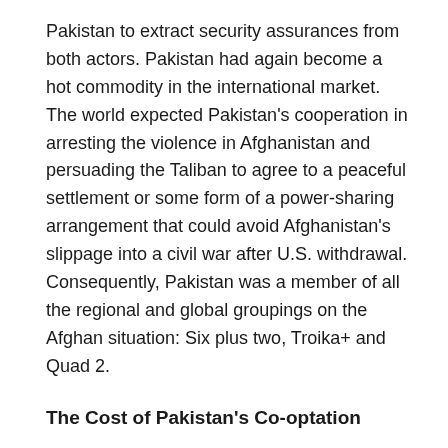Pakistan to extract security assurances from both actors. Pakistan had again become a hot commodity in the international market. The world expected Pakistan's cooperation in arresting the violence in Afghanistan and persuading the Taliban to agree to a peaceful settlement or some form of a power-sharing arrangement that could avoid Afghanistan's slippage into a civil war after U.S. withdrawal. Consequently, Pakistan was a member of all the regional and global groupings on the Afghan situation: Six plus two, Troika+ and Quad 2.
The Cost of Pakistan's Co-optation
While the U.S. remained strategically glued to Pakistan's geography, Pakistan leveraged its geographic asset to escape the consequences of its nefarious activities that endangered global peace and security. Two of the major global threat that the world faces today – nuclear proliferation